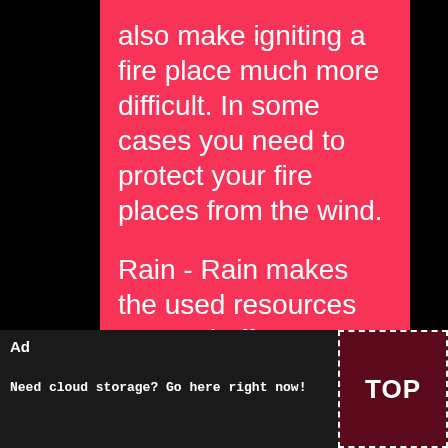also make igniting a fire place much more difficult. In some cases you need to protect your fire places from the wind.
Rain - Rain makes the used resources wet and affects stability and intensity of fire places. If fires are not placed under a roof or trees those
Ad
X
Need cloud storage? Go here right now!
TOP